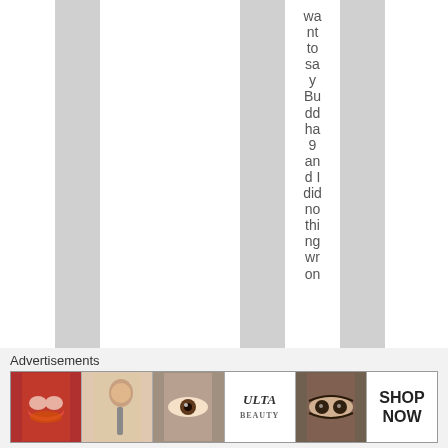want to say Buddha 9 and I did nothing wrong
Advertisements
[Figure (infographic): Advertisement banner for ULTA beauty with makeup images showing lips, brushes, eyes, and SHOP NOW call to action]